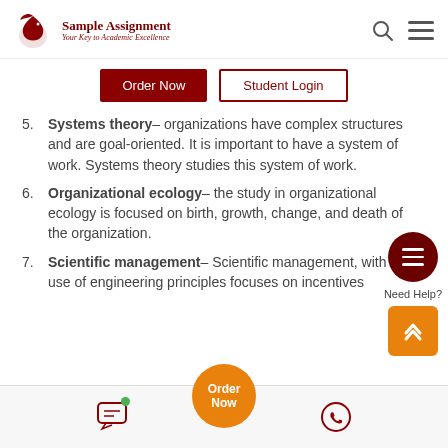Sample Assignment — Your Key to Academic Excellence
5. Systems theory– organizations have complex structures and are goal-oriented. It is important to have a system of work. Systems theory studies this system of work.
6. Organizational ecology– the study in organizational ecology is focused on birth, growth, change, and death of the organization.
7. Scientific management– Scientific management, with the use of engineering principles focuses on incentives